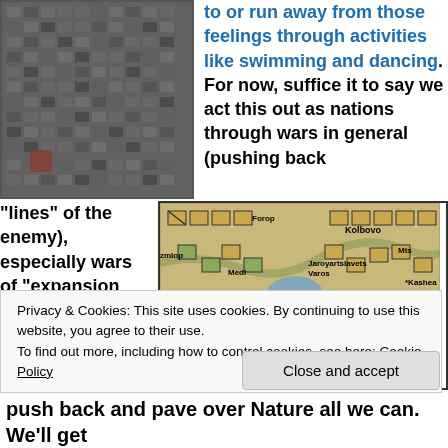[Figure (photo): Dense high-rise apartment building exterior, black and white/grey tones]
to or run away from those feelings through activities like swimming and dancing. For now, suffice it to say we act this out as nations through wars in general (pushing back
“lines” of the enemy), especially wars of “expansion
[Figure (screenshot): Military strategy map game screenshot showing units on a map with place names like Kolbovo, Kashea, Tarusa, Yukhnov]
Privacy & Cookies: This site uses cookies. By continuing to use this website, you agree to their use. To find out more, including how to control cookies, see here: Cookie Policy
Close and accept
push back and pave over Nature all we can. We’ll get